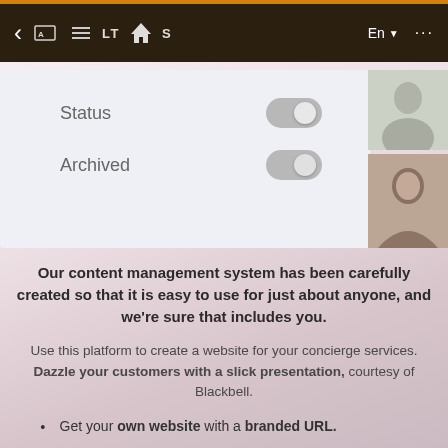< BELTAS  [home icon]   En ▼  ...
[Figure (screenshot): Mobile app UI panel showing two toggle switches labeled 'Status' and 'Archived', both in off/grey state, with two photos on the right side]
Our content management system has been carefully created so that it is easy to use for just about anyone, and we're sure that includes you.
Use this platform to create a website for your concierge services. Dazzle your customers with a slick presentation, courtesy of Blackbell.
Get your own website with a branded URL.